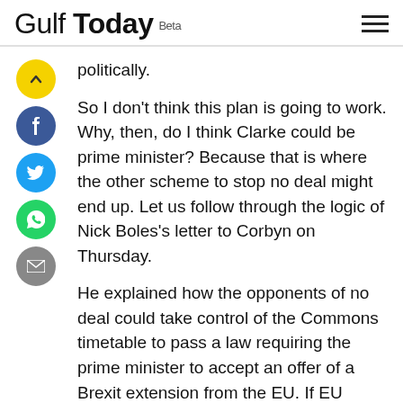Gulf Today Beta
politically.
So I don’t think this plan is going to work. Why, then, do I think Clarke could be prime minister? Because that is where the other scheme to stop no deal might end up. Let us follow through the logic of Nick Boles’s letter to Corbyn on Thursday.
He explained how the opponents of no deal could take control of the Commons timetable to pass a law requiring the prime minister to accept an offer of a Brexit extension from the EU. If EU leaders cooperate — and that’s an important “if” — this could work. But Johnson